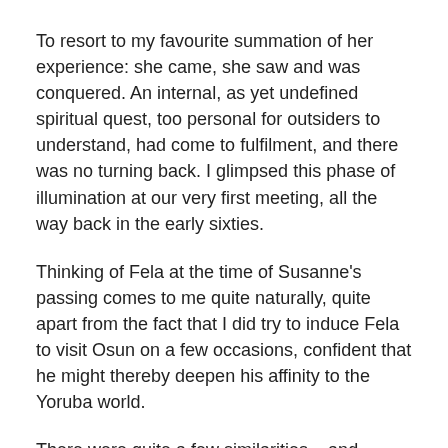To resort to my favourite summation of her experience: she came, she saw and was conquered. An internal, as yet undefined spiritual quest, too personal for outsiders to understand, had come to fulfilment, and there was no turning back. I glimpsed this phase of illumination at our very first meeting, all the way back in the early sixties.
Thinking of Fela at the time of Susanne's passing comes to me quite naturally, quite apart from the fact that I did try to induce Fela to visit Osun on a few occasions, confident that he might thereby deepen his affinity to the Yoruba world.
There were quite a few similarities – and contrasts – between her and my cousin, who came to be known even more widely as abami eda.